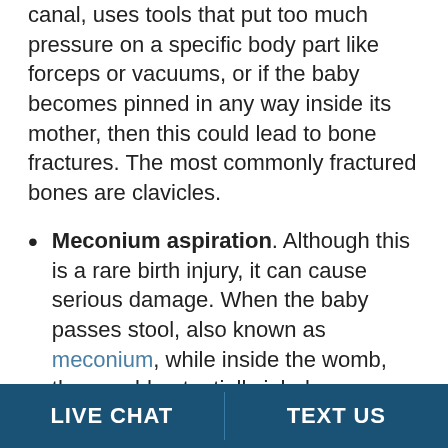canal, uses tools that put too much pressure on a specific body part like forceps or vacuums, or if the baby becomes pinned in any way inside its mother, then this could lead to bone fractures. The most commonly fractured bones are clavicles.
Meconium aspiration. Although this is a rare birth injury, it can cause serious damage. When the baby passes stool, also known as meconium, while inside the womb, they could potentially inhale or aspirate it, which can cause brain damage or damage to the baby's lungs.
Spinal cord damage. If a baby is
LIVE CHAT   TEXT US